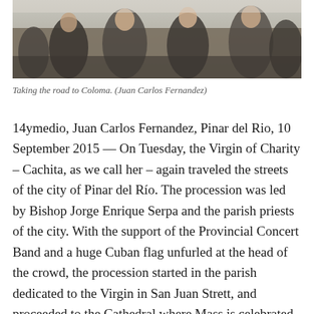[Figure (photo): Crowd of people walking, taking the road to Coloma, photographed by Juan Carlos Fernandez]
Taking the road to Coloma. (Juan Carlos Fernandez)
14ymedio, Juan Carlos Fernandez, Pinar del Rio, 10 September 2015 — On Tuesday, the Virgin of Charity – Cachita, as we call her – again traveled the streets of the city of Pinar del Río. The procession was led by Bishop Jorge Enrique Serpa and the parish priests of the city. With the support of the Provincial Concert Band and a huge Cuban flag unfurled at the head of the crowd, the procession started in the parish dedicated to the Virgin in San Juan Strett, and proceeded to the Cathedral where Mass is celebrated.